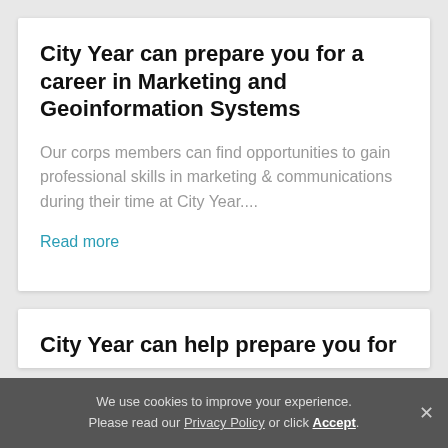City Year can prepare you for a career in Marketing and Geoinformation Systems
Our corps members can find opportunities to gain professional skills in marketing & communications during their time at City Year....
Read more
City Year can help prepare you for
We use cookies to improve your experience. Please read our Privacy Policy or click Accept.